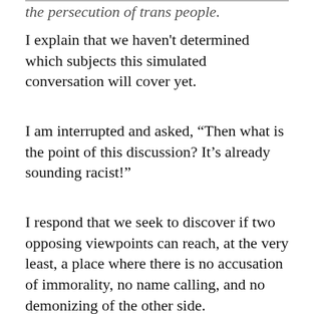the persecution of trans people.
I explain that we haven't determined which subjects this simulated conversation will cover yet.
I am interrupted and asked, “Then what is the point of this discussion? It’s already sounding racist!”
I respond that we seek to discover if two opposing viewpoints can reach, at the very least, a place where there is no accusation of immorality, no name calling, and no demonizing of the other side.
I am told that there must be some hidden agenda in this “the road to racism” of a